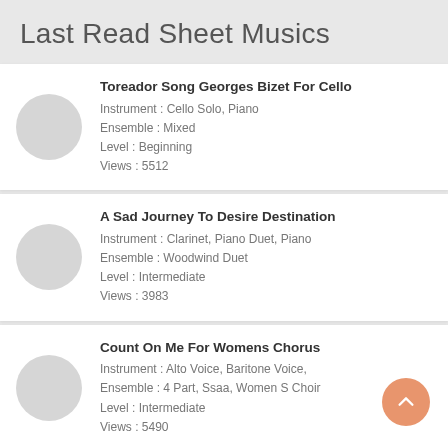Last Read Sheet Musics
Toreador Song Georges Bizet For Cello | Instrument : Cello Solo, Piano | Ensemble : Mixed | Level : Beginning | Views : 5512
A Sad Journey To Desire Destination | Instrument : Clarinet, Piano Duet, Piano | Ensemble : Woodwind Duet | Level : Intermediate | Views : 3983
Count On Me For Womens Chorus | Instrument : Alto Voice, Baritone Voice, | Ensemble : 4 Part, Ssaa, Women S Choir | Level : Intermediate | Views : 5490